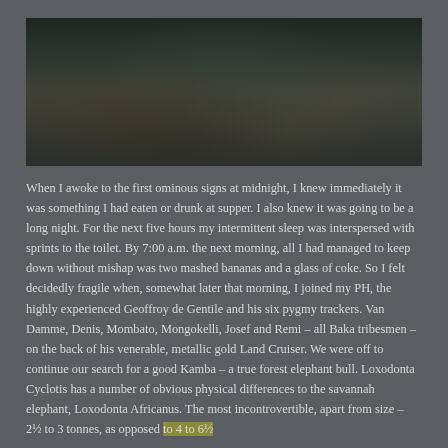[Figure (photo): A dark photograph of a group of people including pygmy trackers posing with or near a large animal (elephant) in a dense forest setting]
When I awoke to the first ominous signs at midnight, I knew immediately it was something I had eaten or drunk at supper. I also knew it was going to be a long night. For the next five hours my intermittent sleep was interspersed with sprints to the toilet. By 7:00 a.m. the next morning, all I had managed to keep down without mishap was two mashed bananas and a glass of coke. So I felt decidedly fragile when, somewhat later that morning, I joined my PH, the highly experienced Geoffroy de Gentile and his six pygmy trackers. Van Damme, Denis, Mombato, Mongokelli, Josef and Remi – all Baka tribesmen – on the back of his venerable, metallic gold Land Cruiser. We were off to continue our search for a good Kamba – a true forest elephant bull. Loxodonta Cyclotis has a number of obvious physical differences to the savannah elephant, Loxodonta Africanus. The most incontrovertible, apart from size – 2½ to 3 tonnes, as opposed to 4 to 6½